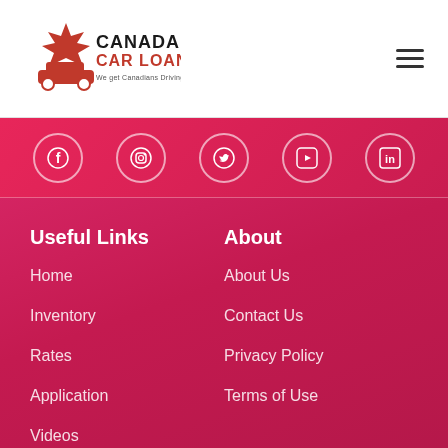[Figure (logo): Canada Car Loans logo with red maple leaf and car silhouette]
[Figure (other): Social media icons row: Facebook, Instagram, Twitter, YouTube, LinkedIn on pink/red gradient background]
Useful Links
About
Home
About Us
Inventory
Contact Us
Rates
Privacy Policy
Application
Terms of Use
Videos